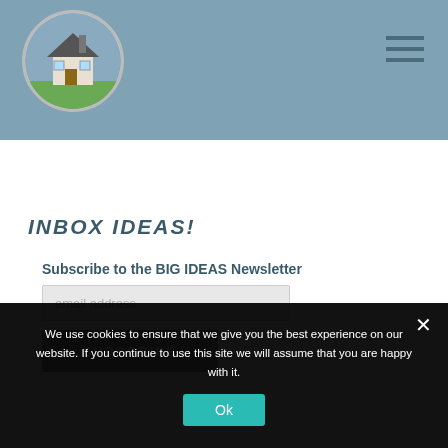[Figure (logo): Circular logo with a house illustration on a grey/blue background]
CONTACT
INBOX IDEAS!
Subscribe to the BIG IDEAS Newsletter
email address
SUBSCRIBE
We use cookies to ensure that we give you the best experience on our website. If you continue to use this site we will assume that you are happy with it.
Ok